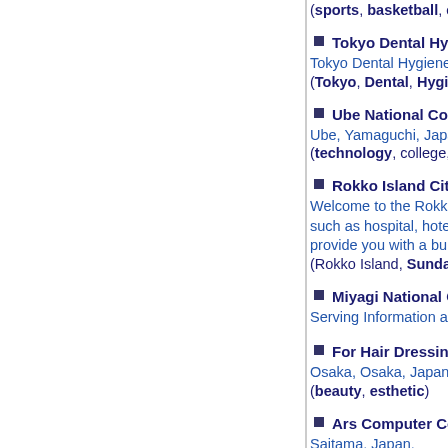(sports, basketball, college, news)
Tokyo Dental Hygiene (Tokyo) -(1997)
Tokyo Dental Hygiene Homepage
(Tokyo, Dental, Hygiene)
Ube National College of Technology (Yamaguchi)
Ube, Yamaguchi, Japan.
(technology, college, Ube)
Rokko Island City (RIC) Homepage (Hyogo) -(1997)
Welcome to the Rokko Island City Homepage. This h... such as hospital, hotels, companies, schools etc., or... provide you with a bulletin board system which can b...
(Rokko Island, Sundai, SHC, Ashigei, P&G, ENTEN...
Miyagi National College of Technology (Miyagi) -(...
Serving Information about Miyagi National College o...
For Hair Dressing, Creators, Kozu (Osaka) -(1996
Osaka, Osaka, Japan.
(beauty, esthetic)
Ars Computer College (Saitama) -(1996)
Saitama, Japan.
(college)
Tsuyama National College of Technology (Okaya...
Official home page of Tsuyama National College of T...
(College of Technology, Tsuyama, Okayama)
Department of Telecommunications, Kumamoto...